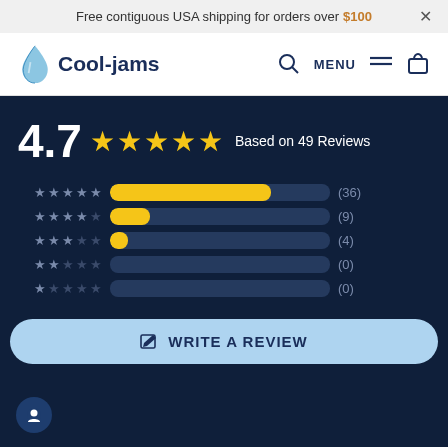Free contiguous USA shipping for orders over $100  ×
[Figure (logo): Cool-jams logo with blue droplet icon and navigation icons (search, MENU, cart)]
[Figure (bar-chart): 4.7 ★★★★★ Based on 49 Reviews]
✎ WRITE A REVIEW